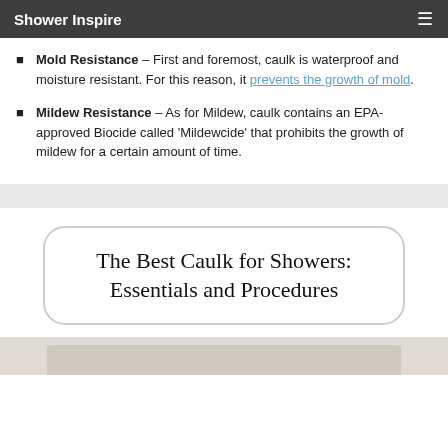Shower Inspire
Mold Resistance – First and foremost, caulk is waterproof and moisture resistant. For this reason, it prevents the growth of mold.
Mildew Resistance – As for Mildew, caulk contains an EPA-approved Biocide called 'Mildewcide' that prohibits the growth of mildew for a certain amount of time.
The Best Caulk for Showers: Essentials and Procedures
[Figure (photo): Photo of a shower area, partially visible at the bottom of the page]